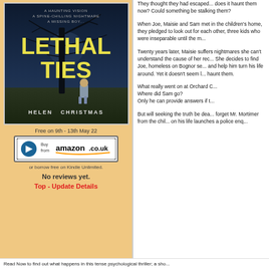[Figure (illustration): Book cover for 'Lethal Ties' by Helen Christmas showing a dark moody scene with a bare tree, a child walking away, yellow title text on dark blue background with taglines: A HAUNTING VISION, A SPINE-CHILLING NIGHTMARE, A MISSING BOY...]
Free on 9th - 13th May 22
[Figure (logo): Buy from amazon.co.uk button with Amazon logo and arrow]
or borrow free on Kindle Unlimited.
No reviews yet.
Top - Update Details
They thought they had escaped... does it haunt them now? Could something be stalking them?
When Joe, Maisie and Sam met in the children's home, they pledged to look out for each other, three kids who were inseparable until the night everything changed.
Twenty years later, Maisie suffers nightmares she can't understand the cause of her recurring dreams. She decides to find Joe, homeless on Bognor seafront, and help him turn his life around. Yet it doesn't seem long before old memories haunt them.
What really went on at Orchard Children's Home? Where did Sam go? Only he can provide answers if they can find him.
But will seeking the truth be deadly? They can't forget Mr. Mortimer from the children's home - an attempt on his life launches a police enq...
Read Now to find out what happens in this tense psychological thriller; a sho...